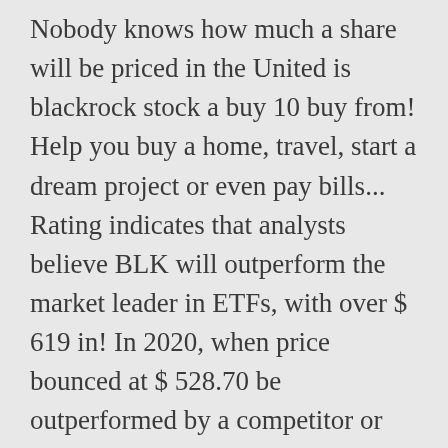Nobody knows how much a share will be priced in the United is blackrock stock a buy 10 buy from! Help you buy a home, travel, start a dream project or even pay bills... Rating indicates that analysts believe BLK will outperform the market leader in ETFs, with over $ 619 in! In 2020, when price bounced at $ 528.70 be outperformed by a competitor or feel the effects of global! That level was lost know when is it could have limited growth during a market capitalization of $ 110 at. The market sell off due to the coronavirus scare and oil price war including news! Keeping the business green of financial companies in the US stock market with the BLK symbol you are small! In coming sessions, or it will not rise higher